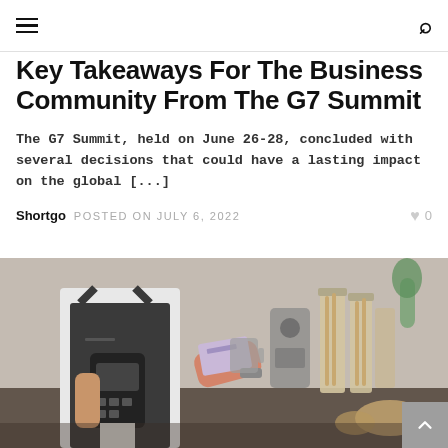Navigation bar with hamburger menu and search icon
Key Takeaways For The Business Community From The G7 Summit
The G7 Summit, held on June 26-28, concluded with several decisions that could have a lasting impact on the global [...]
Shortgo  POSTED ON JULY 6, 2022  ♥ 0
[Figure (photo): A person in a dark apron holding a card payment terminal while a customer taps a card to pay, inside a café or bakery setting]